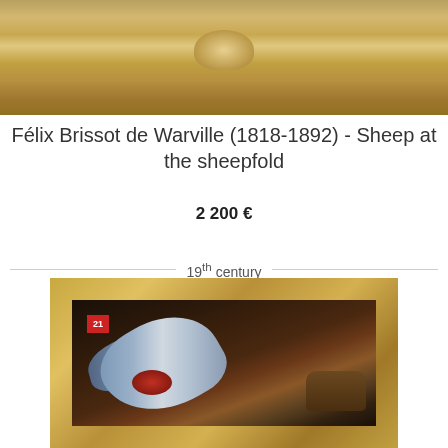[Figure (photo): Top portion of an ornate gilded picture frame with decorative baroque-style carvings and a shell motif in the center]
Félix Brissot de Warville (1818-1892) - Sheep at the sheepfold
2 200 €
19th century
[Figure (photo): Painting in an ornate gilded frame showing dead birds (game) with a basket, style of 19th century still life painting; a red label with number 21 is visible in the top left of the frame interior]